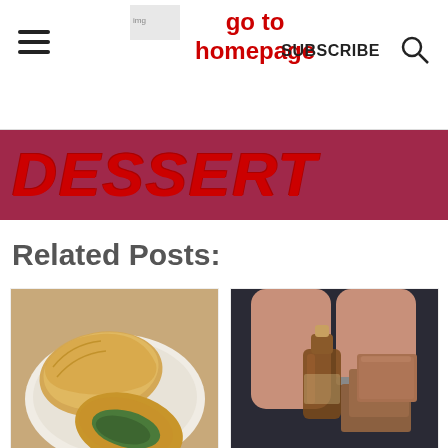go to homepage | SUBSCRIBE
DESSERT
Related Posts:
[Figure (photo): Spinach hand pies or empanadas on a white plate, one cut open showing green spinach filling]
Spinach
[Figure (photo): Hands holding a small glass bottle of dark liquid (syrup/extract) next to brown cake squares]
Coffee Cake